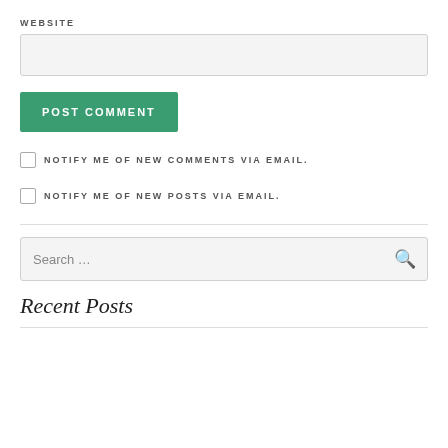WEBSITE
[Figure (screenshot): Empty website URL text input field with light gray background and border]
POST COMMENT
NOTIFY ME OF NEW COMMENTS VIA EMAIL.
NOTIFY ME OF NEW POSTS VIA EMAIL.
[Figure (screenshot): Search input box with placeholder text 'Search ...' and a magnifying glass icon]
Recent Posts